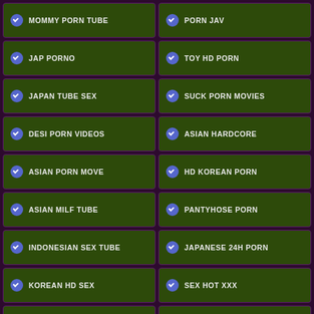MOMMY PORN TUBE
PORN JAV
JAP PORNO
TOY HD PORN
JAPAN TUBE SEX
SUCK PORN MOVIES
DESI PORN VIDEOS
ASIAN HARDCORE
ASIAN PORN MOVE
HD KOREAN PORN
ASIAN MILF TUBE
PANTYHOSE PORN
INDONESIAN SEX TUBE
JAPANESE 24H PORN
KOREAN HD SEX
SEX HOT XXX
MOM SEX TUBES
ANAL PORNO XXX
JAPAN HD SEX
HD THAI PORN